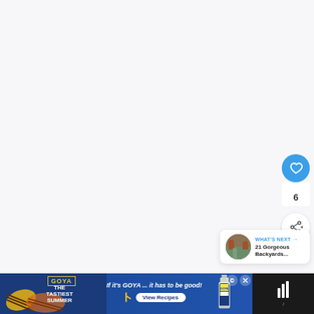[Figure (screenshot): Large white/light gray empty content area occupying most of the page, representing a web article page with no visible article content in this frame]
[Figure (infographic): Blue circular like/heart button with white heart icon, below it a count showing '6', and a white circular share button with share icon]
6
[Figure (infographic): "WHAT'S NEXT →" label in blue with thumbnail image of a backyard scene in a circular avatar, followed by text '21 Gorgeous Backyards...']
WHAT'S NEXT → 21 Gorgeous Backyards...
[Figure (photo): Goya advertisement banner showing grilled food, Goya logo, tagline 'If it's GOYA... it has to be good!', View Recipes button, and a Goya product bottle. Ad controls (dismiss X, play controls) and mute button visible on right.]